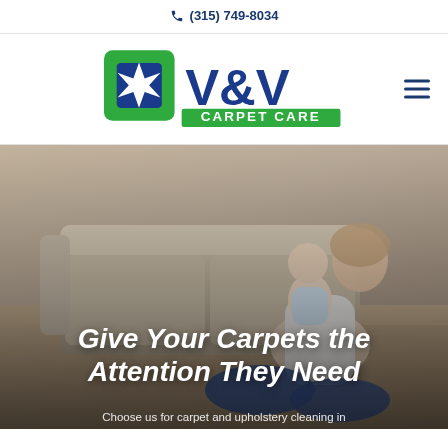(315) 749-8034
[Figure (logo): V&V Carpet Care logo with a green and blue square icon featuring a white X star shape on the left, and bold blue text 'V&V' on the right with a green rectangular banner reading 'CARPET CARE' below]
[Figure (photo): A mother sitting on the floor with a baby/toddler in her lap, both in front of a beige couch, on a carpeted floor. Warm, natural lighting.]
Give Your Carpets the Attention They Need
Choose us for carpet and upholstery cleaning in